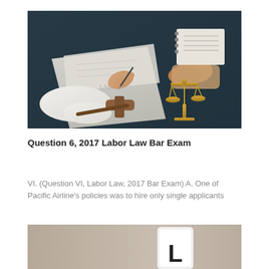[Figure (photo): Overhead view of two people at a dark desk during a legal consultation. One person in white shirt is signing documents with a pen, the other has clasped hands near a notebook. A wooden gavel and a golden scales of justice figurine are visible on the desk.]
Question 6, 2017 Labor Law Bar Exam
VI. (Question VI, Labor Law, 2017 Bar Exam) A. One of Pacific Airline's policies was to hire only single applicants
[Figure (photo): Partial view of a beige/tan background with a white cube showing the letter L in black, partially visible at the bottom of the page.]